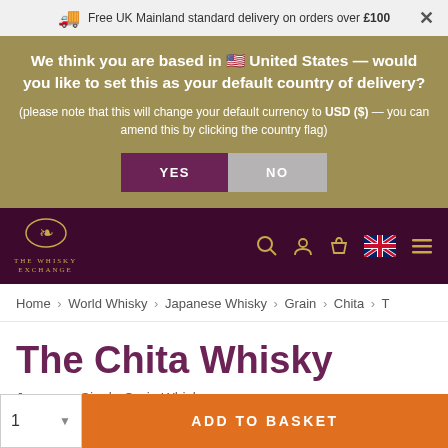Free UK Mainland standard delivery on orders over £100
We think you are based in 🇺🇸 United States — would you like to set this as your default country of delivery? (please note that this will change your default currency to USD ($) — you can amend this by clicking the country flag)
[Figure (screenshot): Navigation bar with The Whisky Exchange logo, search, user, basket, UK flag, and hamburger menu icons]
Home › World Whisky › Japanese Whisky › Grain › Chita › T
The Chita Whisky
Japanese Single Grain Whisky